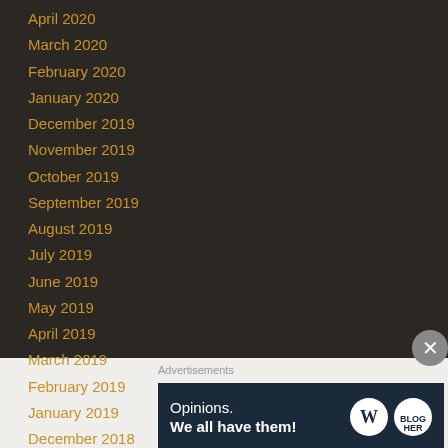April 2020
March 2020
February 2020
January 2020
December 2019
November 2019
October 2019
September 2019
August 2019
July 2019
June 2019
May 2019
April 2019
March 2019
February 2019
January 2019
December 2018
Advertisements
[Figure (other): Advertisement banner: Opinions. We all have them! with WordPress and another logo]